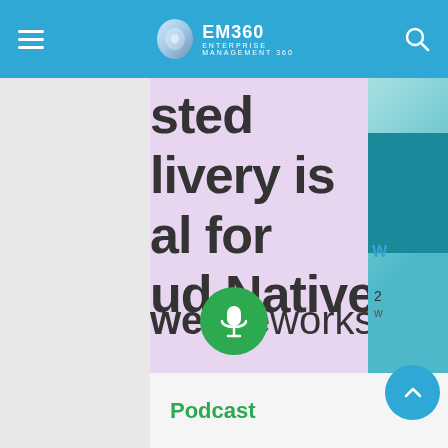EM360 ENTERPRISE MANAGEMENT 360
[Figure (screenshot): EM360 website screenshot showing a podcast article card with text 'sted livery is al for ud Native' (partially cropped), 'weaveworks' brand, a circular headshot of Mohamed Ah... (VP of Developer ... at Weaveworks), a green microphone podcast button, and bottom bar with 'Podcast' label and 'today' timestamp]
Mohamed Ah... VP of Developer ... at Weavewo...